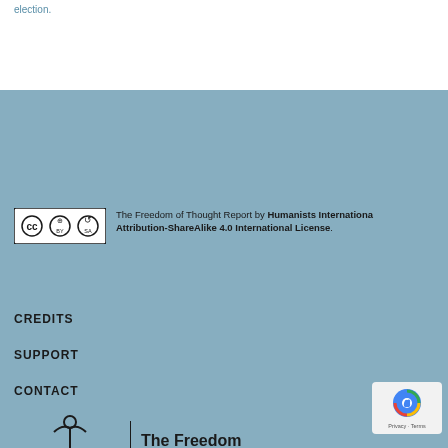election.
[Figure (logo): Creative Commons Attribution-ShareAlike license icon (CC BY SA)]
The Freedom of Thought Report by Humanists International Attribution-ShareAlike 4.0 International License.
CREDITS
SUPPORT
CONTACT
[Figure (logo): Humanists International logo with figure icon and text 'Humanists International' alongside 'The Freedom of Thought Report']
[Figure (logo): reCAPTCHA badge with Privacy and Terms links]